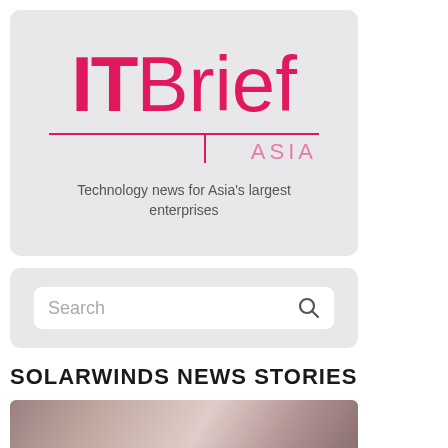[Figure (logo): IT Brief Asia logo on grey background with tagline 'Technology news for Asia's largest enterprises']
Search
SOLARWINDS NEWS STORIES
[Figure (photo): Partial photo of a person with technology imagery, bottom portion of page]